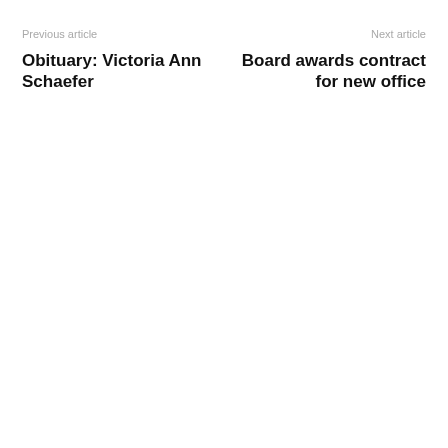Previous article
Next article
Obituary: Victoria Ann Schaefer
Board awards contract for new office